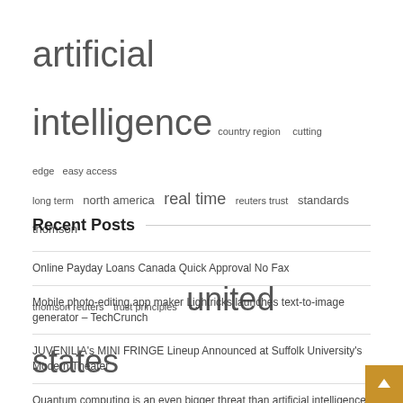[Figure (infographic): Tag/keyword cloud with terms of varying sizes: artificial intelligence (largest), united states (very large), real time, vice president (large), country region, cutting edge, easy access, long term, north america, reuters trust, standards thomson, thomson reuters, trust principles, user experience, year including]
Recent Posts
Online Payday Loans Canada Quick Approval No Fax
Mobile photo-editing app maker Lightricks launches text-to-image generator – TechCrunch
JUVENILIA's MINI FRINGE Lineup Announced at Suffolk University's Modern Theater
Quantum computing is an even bigger threat than artificial intelligence –